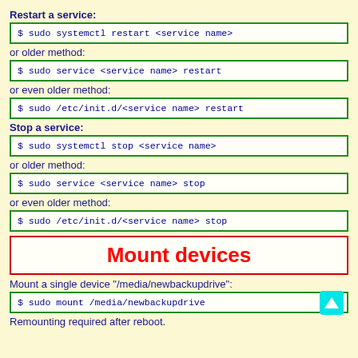Restart a service:
$ sudo systemctl restart <service name>
or older method:
$ sudo service <service name> restart
or even older method:
$ sudo /etc/init.d/<service name> restart
Stop a service:
$ sudo systemctl stop <service name>
or older method:
$ sudo service <service name> stop
or even older method:
$ sudo /etc/init.d/<service name> stop
Mount devices
Mount a single device "/media/newbackupdrive":
$ sudo mount /media/newbackupdrive
Remounting required after reboot.